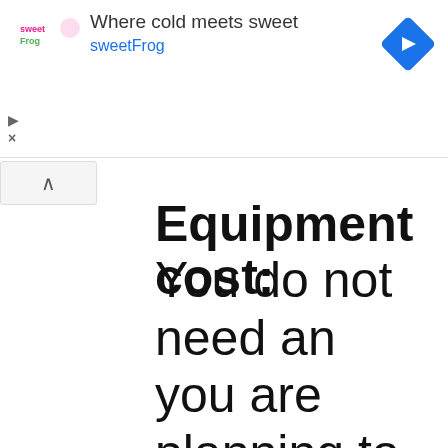[Figure (screenshot): Mobile ad banner for sweetFrog frozen yogurt. Shows sweetFrog logo on left, text 'Where cold meets sweet' and 'sweetFrog' in blue, and a blue diamond navigation arrow on the right.]
Equipment cost:
You do not need any you are planning to You can sell online a tickets using your ow The scanning app is with all devices and